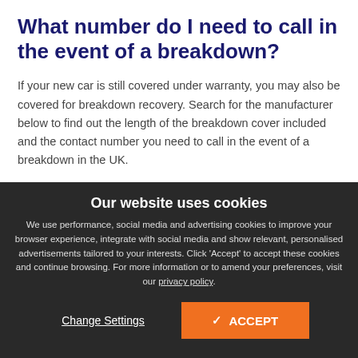What number do I need to call in the event of a breakdown?
If your new car is still covered under warranty, you may also be covered for breakdown recovery. Search for the manufacturer below to find out the length of the breakdown cover included and the contact number you need to call in the event of a breakdown in the UK.
Our website uses cookies
We use performance, social media and advertising cookies to improve your browser experience, integrate with social media and show relevant, personalised advertisements tailored to your interests. Click 'Accept' to accept these cookies and continue browsing. For more information or to amend your preferences, visit our privacy policy.
Change Settings
✓ ACCEPT